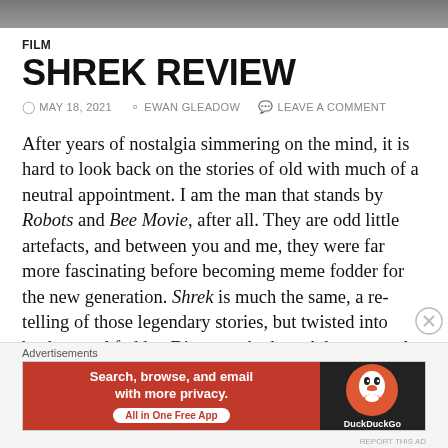[Figure (photo): Top portion of a film/movie still image cropped at top of page]
FILM
SHREK REVIEW
MAY 18, 2021  EWAN GLEADOW  LEAVE A COMMENT
After years of nostalgia simmering on the mind, it is hard to look back on the stories of old with much of a neutral appointment. I am the man that stands by Robots and Bee Movie, after all. They are odd little artefacts, and between you and me, they were far more fascinating before becoming meme fodder for the new generation. Shrek is much the same, a re-telling of those legendary stories, but twisted into background fodder. Directors Andrew Adamson and Vicky Jenson are far more concerned with crafting their own
Advertisements
[Figure (screenshot): DuckDuckGo advertisement banner: orange/red left panel with text 'Search, browse, and email with more privacy. All in One Free App' and dark right panel with DuckDuckGo logo]